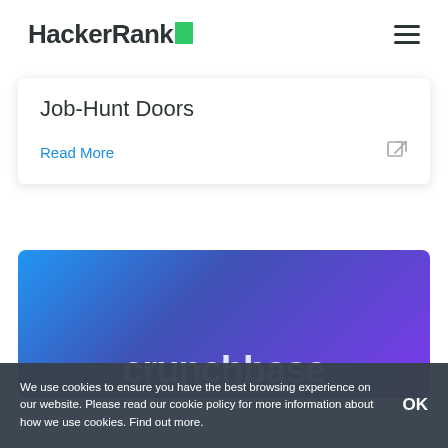HackerRank
Job-Hunt Doors
Read More
[Figure (screenshot): Crunchbase branded card with blue-to-purple gradient background and white 'crunchbase' text]
We use cookies to ensure you have the best browsing experience on our website. Please read our cookie policy for more information about how we use cookies. Find out more.